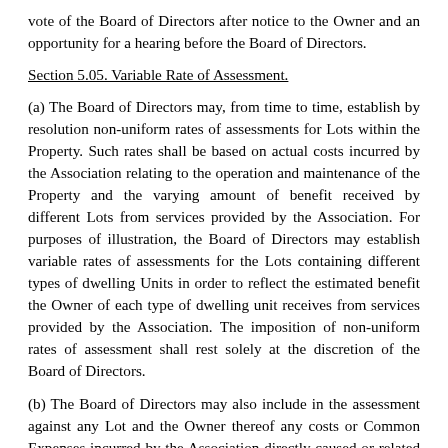vote of the Board of Directors after notice to the Owner and an opportunity for a hearing before the Board of Directors.
Section 5.05. Variable Rate of Assessment.
(a) The Board of Directors may, from time to time, establish by resolution non-uniform rates of assessments for Lots within the Property. Such rates shall be based on actual costs incurred by the Association relating to the operation and maintenance of the Property and the varying amount of benefit received by different Lots from services provided by the Association. For purposes of illustration, the Board of Directors may establish variable rates of assessments for the Lots containing different types of dwelling Units in order to reflect the estimated benefit the Owner of each type of dwelling unit receives from services provided by the Association. The imposition of non-uniform rates of assessment shall rest solely at the discretion of the Board of Directors.
(b) The Board of Directors may also include in the assessment against any Lot and the Owner thereof any costs or Common Expenses incurred by the Association directly caused or related to any activity(ies) of such Owner (or his/her lessee(s), guest(s) or invitee(s)). An Owner shall have ten (10) days from receipt of written notice of any assessment based upon the terms of this Section 5.05(b) to request, in writing, a hearing before the Board of